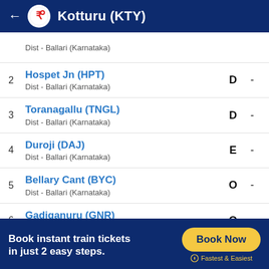Kotturu (KTY)
| # | Station | Type | Time |
| --- | --- | --- | --- |
|  | Dist - Ballari (Karnataka) |  |  |
| 2 | Hospet Jn (HPT)
Dist - Ballari (Karnataka) | D | - |
| 3 | Toranagallu (TNGL)
Dist - Ballari (Karnataka) | D | - |
| 4 | Duroji (DAJ)
Dist - Ballari (Karnataka) | E | - |
| 5 | Bellary Cant (BYC)
Dist - Ballari (Karnataka) | O | - |
| 6 | Gadiganuru (GNR)
Dist - Ballari (Karnataka) | O | - |
| 7 | Haddinagundu (HDD) | O |  |
Book instant train tickets in just 2 easy steps.